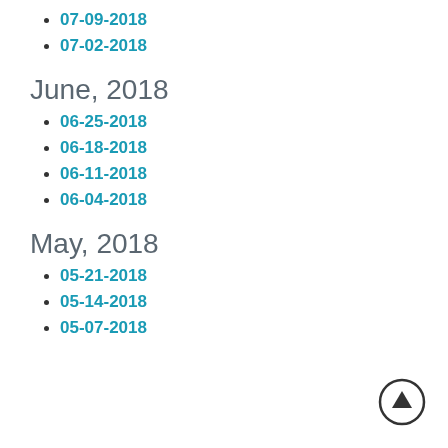07-09-2018
07-02-2018
June, 2018
06-25-2018
06-18-2018
06-11-2018
06-04-2018
May, 2018
05-21-2018
05-14-2018
05-07-2018